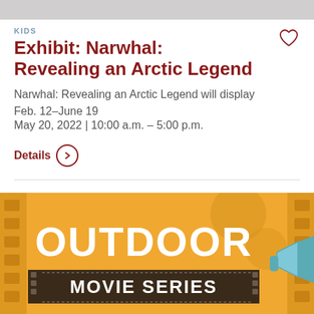[Figure (other): Gray strip at top of page, partially visible like a cropped image area]
KIDS
Exhibit: Narwhal: Revealing an Arctic Legend
Narwhal: Revealing an Arctic Legend will display Feb. 12–June 19
May 20, 2022 | 10:00 a.m. – 5:00 p.m.
Details
[Figure (illustration): Orange/yellow event banner for Outdoor Movie Series with film strip decoration and a megaphone illustration]